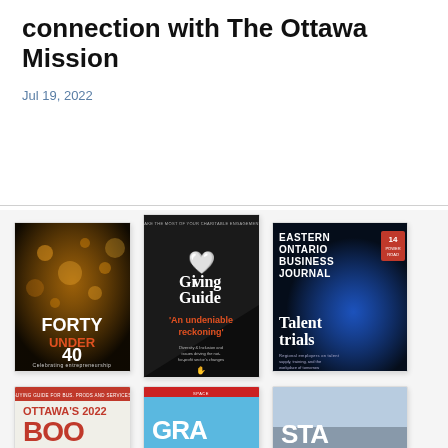connection with The Ottawa Mission
Jul 19, 2022
[Figure (illustration): Grid of magazine covers including Forty Under 40, Giving Guide 'An undeniable reckoning', Eastern Ontario Business Journal Talent trials, Ottawa's 2022 Book, Space, and other magazine covers]
[Figure (illustration): Bottom row of magazine covers partially visible: Ottawa's 2022 Book, Space/Grace, and Staff magazine covers]